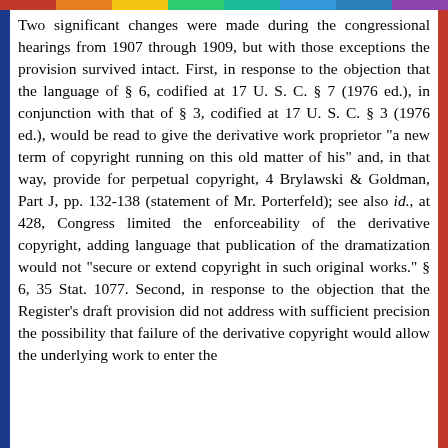Two significant changes were made during the congressional hearings from 1907 through 1909, but with those exceptions the provision survived intact. First, in response to the objection that the language of § 6, codified at 17 U. S. C. § 7 (1976 ed.), in conjunction with that of § 3, codified at 17 U. S. C. § 3 (1976 ed.), would be read to give the derivative work proprietor "a new term of copyright running on this old matter of his" and, in that way, provide for perpetual copyright, 4 Brylawski & Goldman, Part J, pp. 132-138 (statement of Mr. Porterfeld); see also id., at 428, Congress limited the enforceability of the derivative copyright, adding language that publication of the dramatization would not "secure or extend copyright in such original works." § 6, 35 Stat. 1077. Second, in response to the objection that the Register's draft provision did not address with sufficient precision the possibility that failure of the derivative copyright would allow the underlying work to enter the